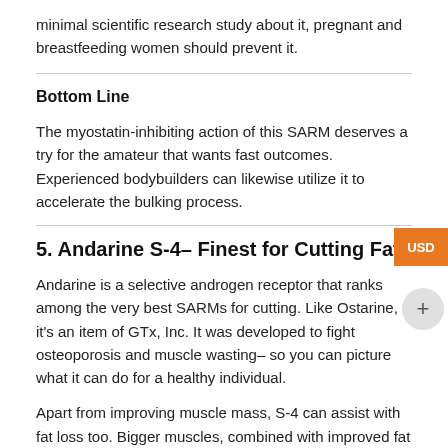minimal scientific research study about it, pregnant and breastfeeding women should prevent it.
Bottom Line
The myostatin-inhibiting action of this SARM deserves a try for the amateur that wants fast outcomes. Experienced bodybuilders can likewise utilize it to accelerate the bulking process.
5. Andarine S-4– Finest for Cutting Fat
Andarine is a selective androgen receptor that ranks among the very best SARMs for cutting. Like Ostarine, it's an item of GTx, Inc. It was developed to fight osteoporosis and muscle wasting– so you can picture what it can do for a healthy individual.
Apart from improving muscle mass, S-4 can assist with fat loss too. Bigger muscles, combined with improved fat loss, must assist you attain that coveted “cut” appearance.